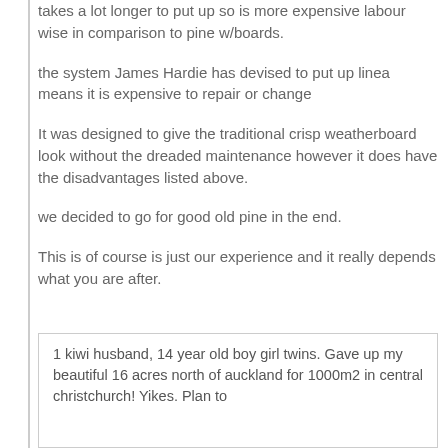takes a lot longer to put up so is more expensive labour wise in comparison to pine w/boards.
the system James Hardie has devised to put up linea means it is expensive to repair or change
It was designed to give the traditional crisp weatherboard look without the dreaded maintenance however it does have the disadvantages listed above.
we decided to go for good old pine in the end.
This is of course is just our experience and it really depends what you are after.
1 kiwi husband, 14 year old boy girl twins. Gave up my beautiful 16 acres north of auckland for 1000m2 in central christchurch! Yikes. Plan to